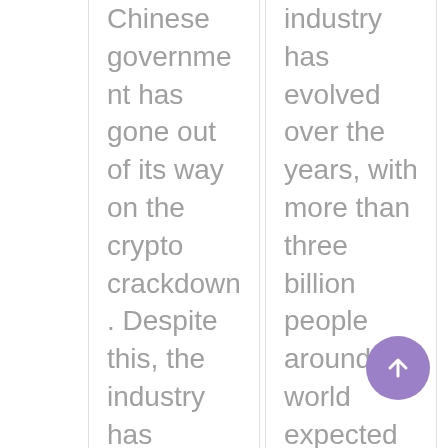Chinese government has gone out of its way on the crypto crackdown. Despite this, the industry has evolved tremendously and continues to capture the
industry has evolved over the years, with more than three billion people around the world expected to be playing video games from different
[Figure (other): Purple circular scroll-to-top button with upward arrow icon]